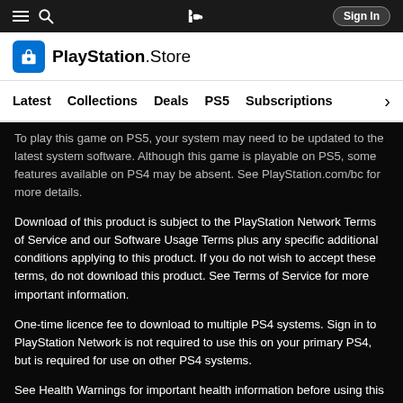PlayStation Store — Sign In | Latest | Collections | Deals | PS5 | Subscriptions
[Figure (logo): PlayStation Store logo with shopping bag icon and PlayStation wordmark]
To play this game on PS5, your system may need to be updated to the latest system software. Although this game is playable on PS5, some features available on PS4 may be absent. See PlayStation.com/bc for more details.
Download of this product is subject to the PlayStation Network Terms of Service and our Software Usage Terms plus any specific additional conditions applying to this product. If you do not wish to accept these terms, do not download this product. See Terms of Service for more important information.
One-time licence fee to download to multiple PS4 systems. Sign in to PlayStation Network is not required to use this on your primary PS4, but is required for use on other PS4 systems.
See Health Warnings for important health information before using this product.